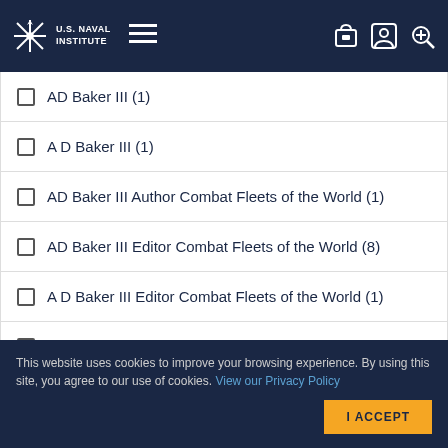U.S. Naval Institute
AD Baker III (1)
A D Baker III (1)
AD Baker III Author Combat Fleets of the World (1)
AD Baker III Editor Combat Fleets of the World (8)
A D Baker III Editor Combat Fleets of the World (1)
Admiral Archie Clemins (1)
This website uses cookies to improve your browsing experience. By using this site, you agree to our use of cookies. View our Privacy Policy
I ACCEPT